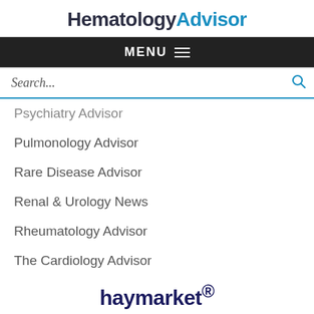HematologyAdvisor
MENU
Search...
Psychiatry Advisor
Pulmonology Advisor
Rare Disease Advisor
Renal & Urology News
Rheumatology Advisor
The Cardiology Advisor
haymarket